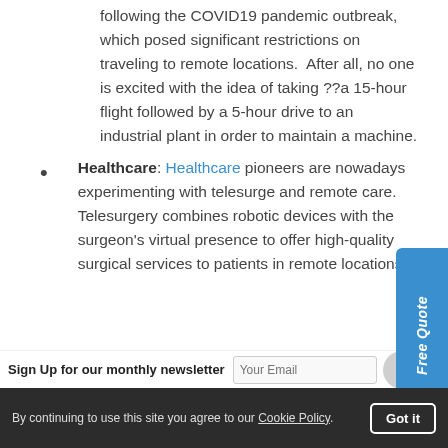following the COVID19 pandemic outbreak, which posed significant restrictions on traveling to remote locations. After all, no one is excited with the idea of taking ??a 15-hour flight followed by a 5-hour drive to an industrial plant in order to maintain a machine.
Healthcare: Healthcare pioneers are nowadays experimenting with telesurgery and remote care. Telesurgery combines robotic devices with the surgeon's virtual presence to offer high-quality surgical services to patients in remote locations.
Sign Up for our monthly newsletter
By continuing to use this site you agree to our Cookie Policy. Got it